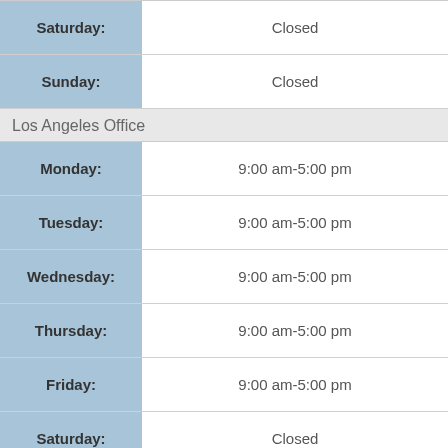| Day | Hours |
| --- | --- |
| Saturday: | Closed |
| Sunday: | Closed |
Los Angeles Office
| Day | Hours |
| --- | --- |
| Monday: | 9:00 am-5:00 pm |
| Tuesday: | 9:00 am-5:00 pm |
| Wednesday: | 9:00 am-5:00 pm |
| Thursday: | 9:00 am-5:00 pm |
| Friday: | 9:00 am-5:00 pm |
| Saturday: | Closed |